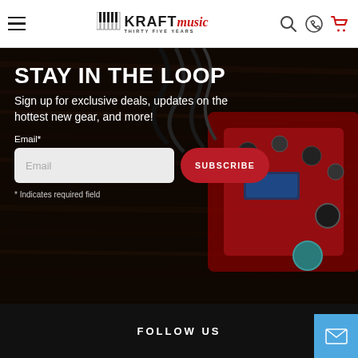Kraft Music - Thirty Five Years
STAY IN THE LOOP
Sign up for exclusive deals, updates on the hottest new gear, and more!
Email*
* Indicates required field
FOLLOW US